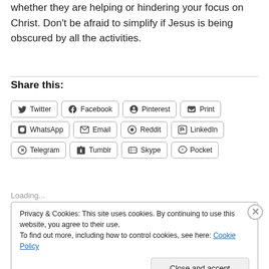whether they are helping or hindering your focus on Christ. Don't be afraid to simplify if Jesus is being obscured by all the activities.
Share this:
Twitter | Facebook | Pinterest | Print | WhatsApp | Email | Reddit | LinkedIn | Telegram | Tumblr | Skype | Pocket
Loading...
Privacy & Cookies: This site uses cookies. By continuing to use this website, you agree to their use.
To find out more, including how to control cookies, see here: Cookie Policy